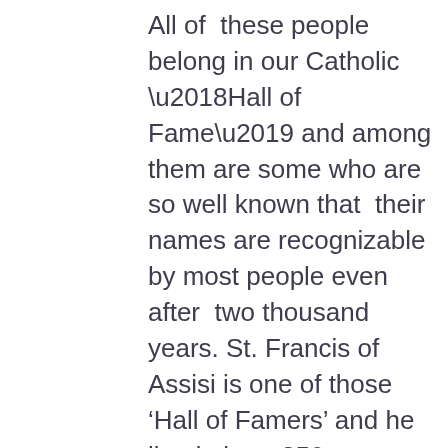All of  these people belong in our Catholic ‘Hall of Fame’ and among them are some who are so well known that  their names are recognizable by most people even after  two thousand years. St. Francis of Assisi is one of those ‘Hall of Famers’ and he lived about 850 years ago.
I am a cradle Catholic  and I went to Catholic school from grades one through twelve. I learned about many saints and martyrs